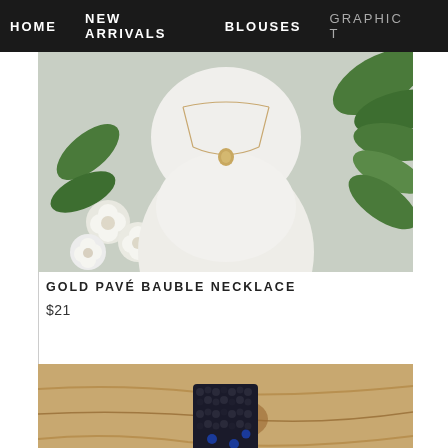HOME | NEW ARRIVALS | BLOUSES | GRAPHIC T
[Figure (photo): Product photo of a gold pavé bauble necklace displayed on a white mannequin bust surrounded by white flowers and green leaves]
GOLD PAVÉ BAUBLE NECKLACE
$21
[Figure (photo): Partial product photo showing dark beaded/seed bead jewelry piece on a wooden background]